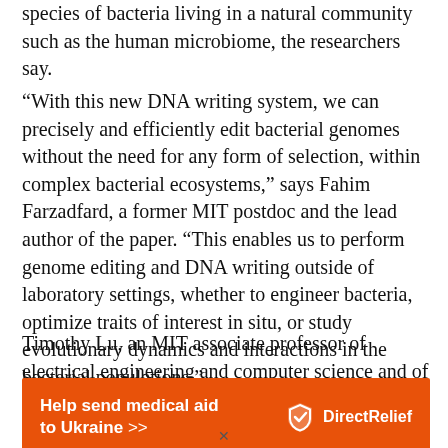species of bacteria living in a natural community such as the human microbiome, the researchers say.
“With this new DNA writing system, we can precisely and efficiently edit bacterial genomes without the need for any form of selection, within complex bacterial ecosystems,” says Fahim Farzadfard, a former MIT postdoc and the lead author of the paper. “This enables us to perform genome editing and DNA writing outside of laboratory settings, whether to engineer bacteria, optimize traits of interest in situ, or study evolutionary dynamics and interactions in the bacterial populations.”
Timothy Lu, an MIT associate professor of electrical engineering and computer science and of biological
[Figure (infographic): Orange advertisement banner reading 'Help send medical aid to Ukraine >>' with Direct Relief logo on the right]